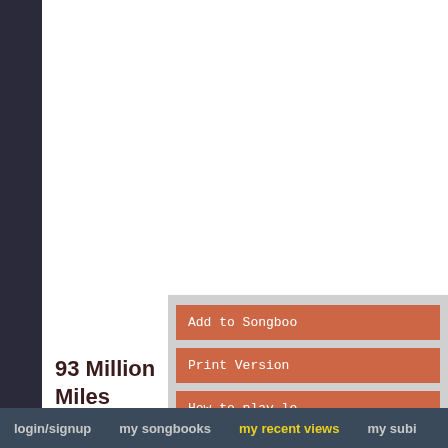[Figure (screenshot): Left dark navy/charcoal sidebar with orange-brown right border]
Add to Songboo
Print Version
How to play le
Submit videole
93 Million Miles (simplificada)
login/signup   my songbooks   my recent views   my subi